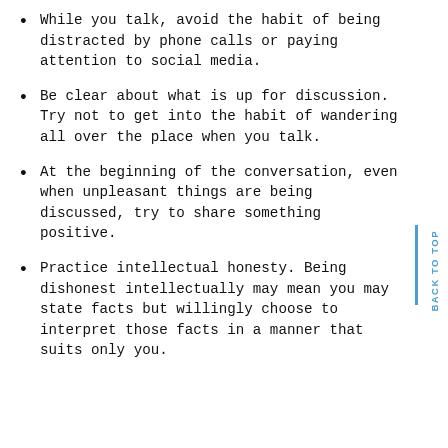While you talk, avoid the habit of being distracted by phone calls or paying attention to social media.
Be clear about what is up for discussion. Try not to get into the habit of wandering all over the place when you talk.
At the beginning of the conversation, even when unpleasant things are being discussed, try to share something positive.
Practice intellectual honesty. Being dishonest intellectually may mean you may state facts but willingly choose to interpret those facts in a manner that suits only you.